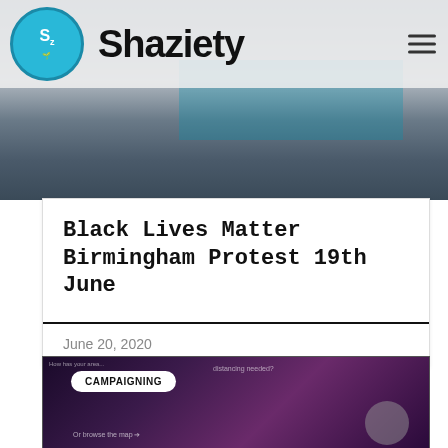Shaziety
[Figure (photo): Background protest photo in greyed-out tones forming the hero image behind the header]
Black Lives Matter Birmingham Protest 19th June
June 20, 2020
[Figure (screenshot): Screenshot of a campaigning/mapping page with CAMPAIGNING badge, distancing needed text, and browse the map link on a dark purple background]